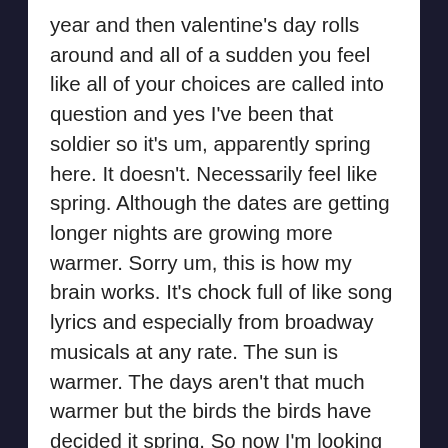year and then valentine's day rolls around and all of a sudden you feel like all of your choices are called into question and yes I've been that soldier so it's um, apparently spring here. It doesn't. Necessarily feel like spring. Although the dates are getting longer nights are growing more warmer. Sorry um, this is how my brain works. It's chock full of like song lyrics and especially from broadway musicals at any rate. The sun is warmer. The days aren't that much warmer but the birds the birds have decided it spring. So now I'm looking out my window at the portal and there are finches that are trying to make sort of this top spiral of. Wisteria vine up in the corner of the portal work for a nest and I just don't think it's gonna happen I don't know they're very